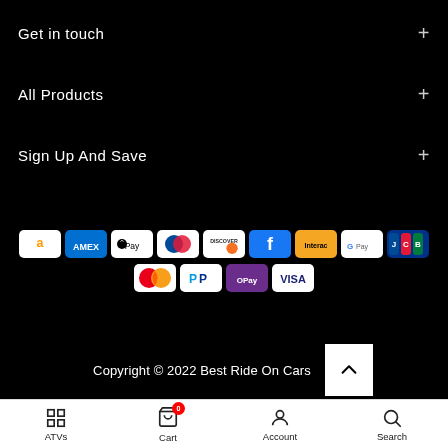Get in touch +
All Products +
Sign Up And Save +
[Figure (infographic): Payment method icons: Amazon, Amex, Apple Pay, Diners Club, Discover, Facebook Pay, Interac, Google Pay, JCB, Mastercard, PayPal, OPay, Visa]
Copyright © 2022 Best Ride On Cars
ATVs | Cart 0 | Account | Search